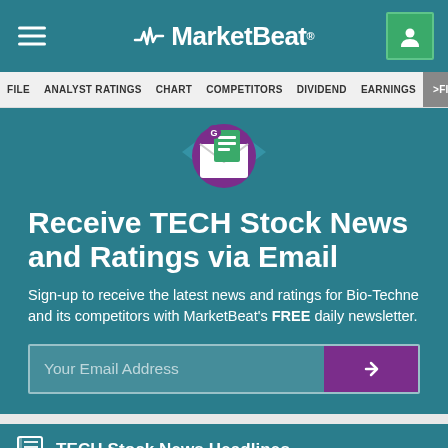MarketBeat
FILE  ANALYST RATINGS  CHART  COMPETITORS  DIVIDEND  EARNINGS  >FIN
[Figure (illustration): Envelope/newsletter icon with green document, purple circle background and teal arrows]
Receive TECH Stock News and Ratings via Email
Sign-up to receive the latest news and ratings for Bio-Techne and its competitors with MarketBeat's FREE daily newsletter.
Your Email Address
TECH Stock News Headlines